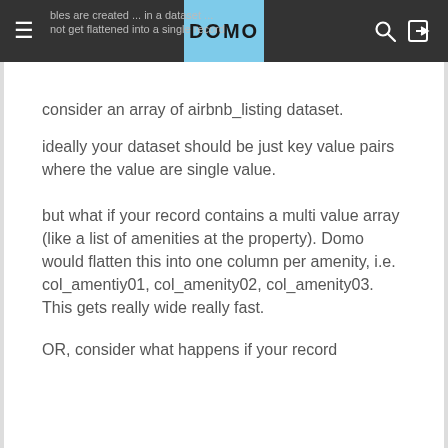... tables are created ... in a dataset ... not get flattened into a single record | DOMO
consider an array of airbnb_listing dataset.
ideally your dataset should be just key value pairs where the value are single value.
but what if your record contains a multi value array (like a list of amenities at the property). Domo would flatten this into one column per amenity, i.e. col_amentiy01, col_amenity02, col_amenity03.  This gets really wide really fast.
OR, consider what happens if your record